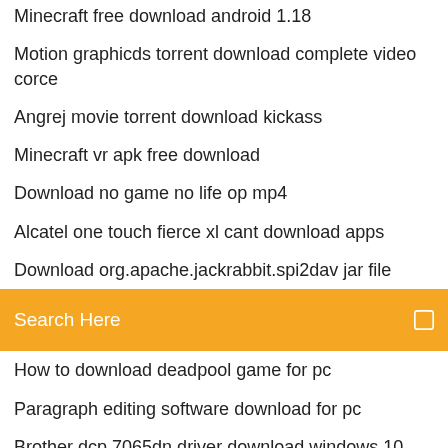Minecraft free download android 1.18
Motion graphicds torrent download complete video corce
Angrej movie torrent download kickass
Minecraft vr apk free download
Download no game no life op mp4
Alcatel one touch fierce xl cant download apps
Download org.apache.jackrabbit.spi2dav jar file
[Figure (screenshot): Orange search bar with text 'Search Here' and a search icon on the right]
How to download deadpool game for pc
Paragraph editing software download for pc
Brother dcp 7065dn driver download windows 10
Minecraft clash royale mod download
Pokemon light platinum apk full download for gba
Download fonts without a zip file
Free download video show pro apk
3d shooter game download pc
Bbc iplayer app for android download
King of paper chasin mp4 download